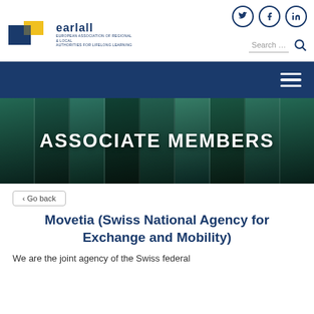[Figure (logo): EARLALL logo with blue and yellow geometric shapes and text 'earlall - European Association of Regional & Local Authorities for Lifelong Learning']
[Figure (screenshot): Website header with social media icons (Twitter, Facebook, LinkedIn) and search bar]
[Figure (photo): Hero image showing architectural venetian blinds/louvres with text 'ASSOCIATE MEMBERS' overlaid in white]
‹ Go back
Movetia (Swiss National Agency for Exchange and Mobility)
We are the joint agency of the Swiss federal